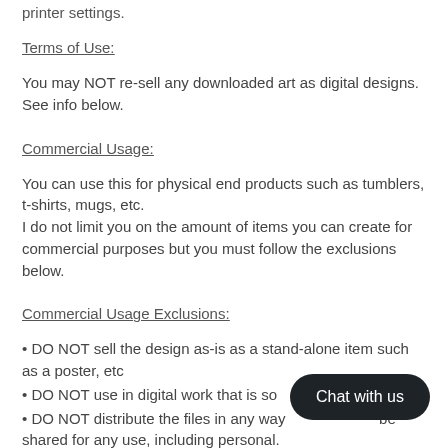printer settings.
Terms of Use:
You may NOT re-sell any downloaded art as digital designs. See info below.
Commercial Usage:
You can use this for physical end products such as tumblers, t-shirts, mugs, etc.
I do not limit you on the amount of items you can create for commercial purposes but you must follow the exclusions below.
Commercial Usage Exclusions:
• DO NOT sell the design as-is as a stand-alone item such as a poster, etc
• DO NOT use in digital work that is so[ld]
• DO NOT distribute the files in any way[. They cannot be] shared for any use, including personal.